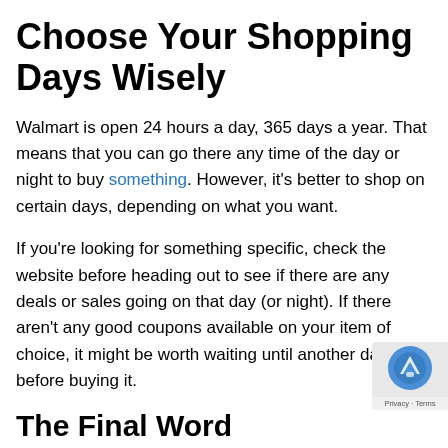Choose Your Shopping Days Wisely
Walmart is open 24 hours a day, 365 days a year. That means that you can go there any time of the day or night to buy something. However, it's better to shop on certain days, depending on what you want.
If you're looking for something specific, check the website before heading out to see if there are any deals or sales going on that day (or night). If there aren't any good coupons available on your item of choice, it might be worth waiting until another day before buying it.
The Final Word
Walmart is the biggest retailer in the world, and it's not just...